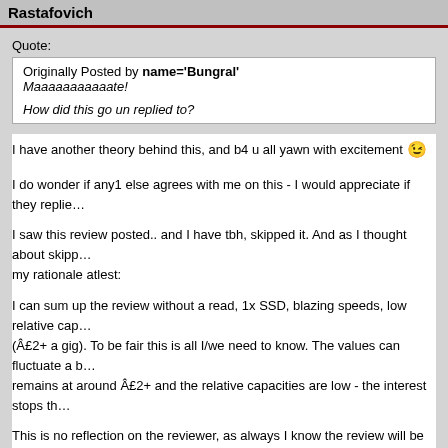Rastafovich
Quote:
Originally Posted by name='Bungral'
Maaaaaaaaaaate!

How did this go un replied to?
I have another theory behind this, and b4 u all yawn with excitement 😉
I do wonder if any1 else agrees with me on this - I would appreciate if they replie...
I saw this review posted.. and I have tbh, skipped it. And as I thought about skipp... my rationale atlest:
I can sum up the review without a read, 1x SSD, blazing speeds, low relative cap... (Â£2+ a gig). To be fair this is all I/we need to know. The values can fluctuate a b... remains at around Â£2+ and the relative capacities are low - the interest stops th...
This is no reflection on the reviewer, as always I know the review will be outstan...
However, until the manufacturers take their mindset away from corporations war... minding paying Â£10k for the privilege, ur average enthusiast isn't going to be in...
U know they're intended for these markets as they're content to stick with the lo... (which are faster according to HDTach presets).
..
Now we've seen 320g drives emerging, so 250g will very soon be the distant ma... guarantee u that they won't come out until they've milked the higher prices of th...